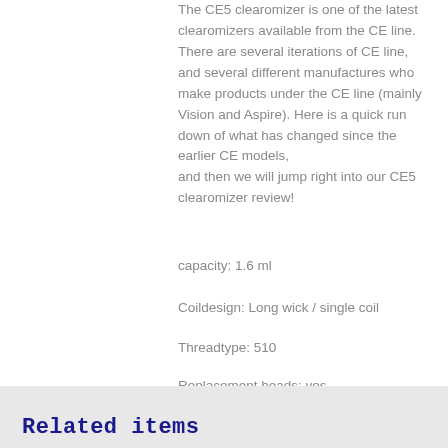The CE5 clearomizer is one of the latest clearomizers available from the CE line. There are several iterations of CE line, and several different manufactures who make products under the CE line (mainly Vision and Aspire). Here is a quick run down of what has changed since the earlier CE models, and then we will jump right into our CE5 clearomizer review!
capacity: 1.6 ml
Coildesign: Long wick / single coil
Threadtype: 510
Replacement heads: yes
Resistance: 2.4 ohms
Related items